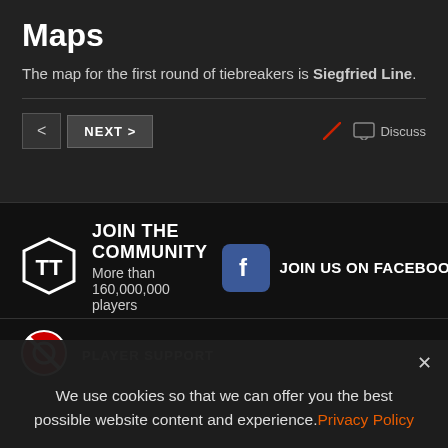Maps
The map for the first round of tiebreakers is Siegfried Line.
< NEXT > Discuss
JOIN THE COMMUNITY
More than 160,000,000 players
JOIN US ON FACEBOOK
PLAYER SUPPORT
We use cookies so that we can offer you the best possible website content and experience. Privacy Policy
OK